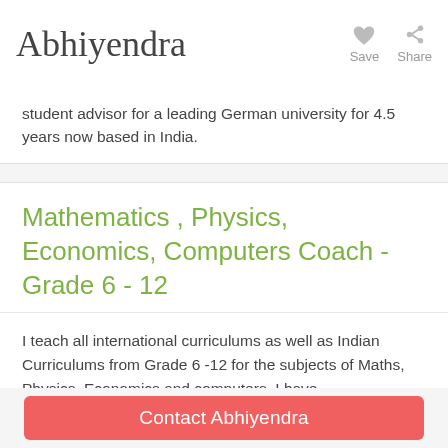Abhiyendra
student advisor for a leading German university for 4.5 years now based in India.
Mathematics , Physics, Economics, Computers Coach - Grade 6 - 12
I teach all international curriculums as well as Indian Curriculums from Grade 6 -12 for the subjects of Maths, Physics, Economics and computers. I have
Read more »
Contact Abhiyendra